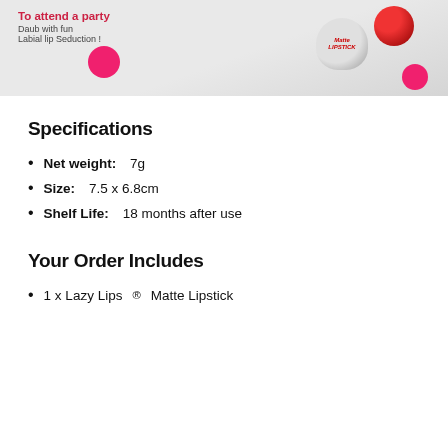[Figure (photo): Product image of Lazy Lips Matte lipstick on light gray background with pink dots, featuring text 'To attend a party / Daub with fun / Labial lip Seduction!']
Specifications
Net weight: 7g
Size: 7.5 x 6.8cm
Shelf Life: 18 months after use
Your Order Includes
1 x Lazy Lips® Matte Lipstick